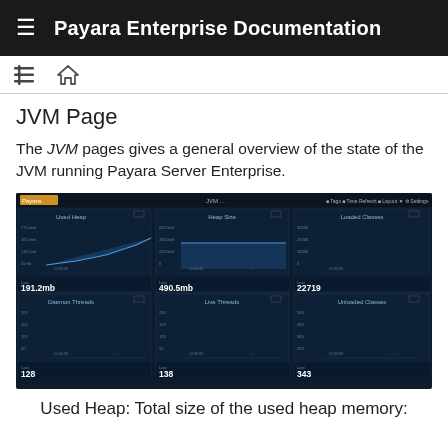Payara Enterprise Documentation
[Figure (screenshot): Navigation icon bar with list and home icons]
JVM Page
The JVM pages gives a general overview of the state of the JVM running Payara Server Enterprise.
[Figure (screenshot): Payara Enterprise JVM monitoring dashboard screenshot showing Used Heap (191.2mb), Heap Size (490.5mb), Loaded Classes (22719), Daemon Threads (128), Live Threads (138), Unloaded Classes (343) with area charts for each metric]
Used Heap: Total size of the used heap memory: